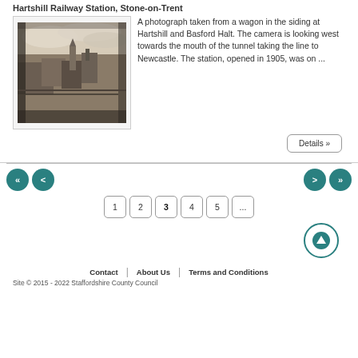Hartshill Railway Station, Stone-on-Trent
[Figure (photo): A vintage sepia-tone photograph taken from a wagon in the siding at Hartshill and Basford Halt, looking west towards the tunnel mouth.]
A photograph taken from a wagon in the siding at Hartshill and Basford Halt. The camera is looking west towards the mouth of the tunnel taking the line to Newcastle. The station, opened in 1905, was on ...
Details »
« < 1 2 3 4 5 ... > »
Contact | About Us | Terms and Conditions
Site © 2015 - 2022 Staffordshire County Council